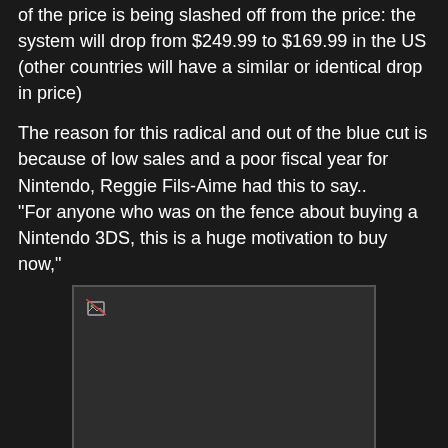of the price is being slashed off from the price: the system will drop from $249.99 to $169.99 in the US (other countries will have a similar or identical drop in price)
The reason for this radical and out of the blue cut is because of low sales and a poor fiscal year for Nintendo, Reggie Fils-Aime had this to say.. "For anyone who was on the fence about buying a Nintendo 3DS, this is a huge motivation to buy now,"
[Figure (photo): Broken/missing image placeholder shown as a dark rectangle with border]
So what does this mean? and what has it got to do with the